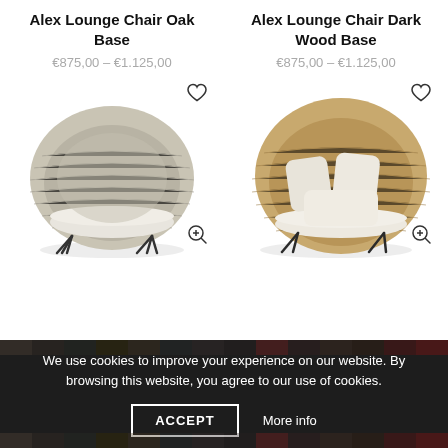Alex Lounge Chair Oak Base
€875,00 – €1.125,00
[Figure (photo): Alex Lounge Chair Oak Base – round woven lounge chair in light beige/grey with white seat cushion and black hairpin legs]
Alex Lounge Chair Dark Wood Base
€875,00 – €1.125,00
[Figure (photo): Alex Lounge Chair Dark Wood Base – round woven lounge chair in natural/tan with cream cushions and dark metal hairpin legs]
We use cookies to improve your experience on our website. By browsing this website, you agree to our use of cookies.